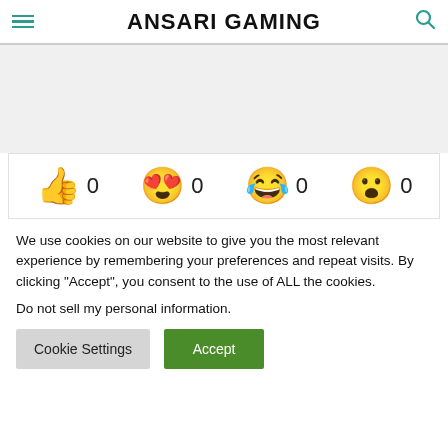ANSARI GAMING
[Figure (other): Gray placeholder area]
[Figure (infographic): Reaction bar with four emoji reactions (thumbs up, heart eyes, laughing crying, surprised) each showing count 0]
We use cookies on our website to give you the most relevant experience by remembering your preferences and repeat visits. By clicking “Accept”, you consent to the use of ALL the cookies.
Do not sell my personal information.
Cookie Settings  Accept